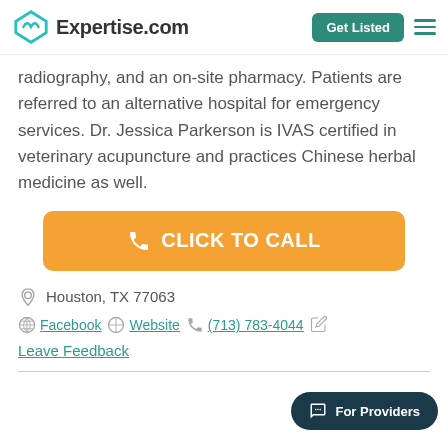Expertise.com | Get Listed
radiography, and an on-site pharmacy. Patients are referred to an alternative hospital for emergency services. Dr. Jessica Parkerson is IVAS certified in veterinary acupuncture and practices Chinese herbal medicine as well.
CLICK TO CALL
Houston, TX 77063
Facebook  Website  (713) 783-4044
Leave Feedback
For Providers